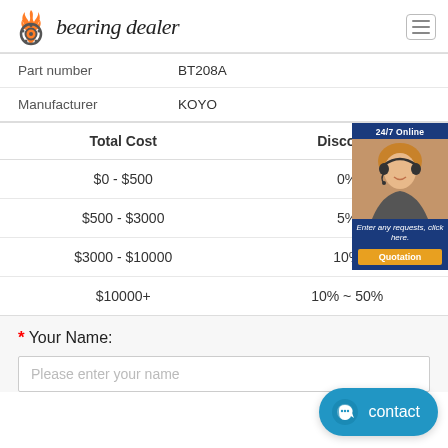bearing dealer
|  |  |
| --- | --- |
| Part number | BT208A |
| Manufacturer | KOYO |
| Total Cost | Discount |
| --- | --- |
| $0 - $500 | 0% |
| $500 - $3000 | 5% |
| $3000 - $10000 | 10% |
| $10000+ | 10% ~ 50% |
[Figure (photo): 24/7 Online customer service representative with headset; caption: Enter any requests, click here. Quotation button.]
* Your Name:
Please enter your name
[Figure (other): Blue contact button with chat icon]